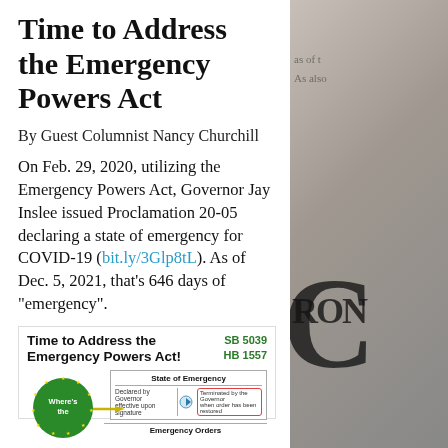Time to Address the Emergency Powers Act
By Guest Columnist Nancy Churchill
On Feb. 29, 2020, utilizing the Emergency Powers Act, Governor Jay Inslee issued Proclamation 20-05 declaring a state of emergency for COVID-19 (bit.ly/3Glp8tL). As of Dec. 5, 2021, that's 646 days of "emergency".
[Figure (infographic): Infographic titled 'Time to Address the Emergency Powers Act!' referencing SB 5039 and HB 1557, showing a diagram of State of Emergency declared by Governor and terminated by Governor, with a green circle asking 'Where's the [balance?]' and Emergency Orders section below.]